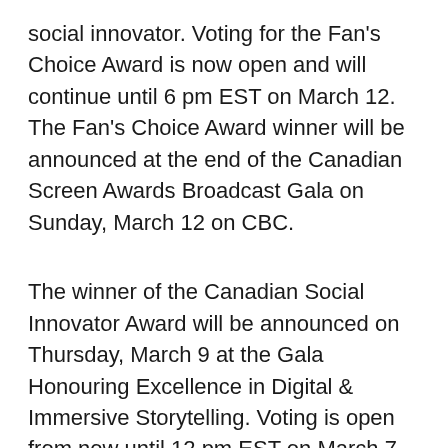social innovator. Voting for the Fan's Choice Award is now open and will continue until 6 pm EST on March 12. The Fan's Choice Award winner will be announced at the end of the Canadian Screen Awards Broadcast Gala on Sunday, March 12 on CBC.
The winner of the Canadian Social Innovator Award will be announced on Thursday, March 9 at the Gala Honouring Excellence in Digital & Immersive Storytelling. Voting is open from now until 12 pm EST on March 7.  Visit Academy.ca to vote.
The Canadian Screen Awards will be broadcast live on CBC from Toronto's Sony Centre for the Performing Arts on Sunday, March 12, 2017 at 8 pm (9 pm AT; 9:30 pm NT). Fans will have a chance to watch from the ceremony live on Canadian Screen...